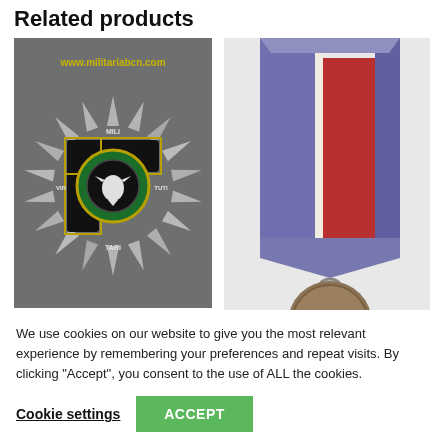Related products
[Figure (photo): Polish Virtuti Militari military cross/star medal badge with silver radiating points and black enamel cross arms, bearing the text MILI, VIRTUTI, TARI. Watermark www.militariabcn.com visible.]
[Figure (photo): A military medal with a red, white, and blue/purple ribbon attached to a circular bronze medal disc, partially visible at the bottom.]
We use cookies on our website to give you the most relevant experience by remembering your preferences and repeat visits. By clicking “Accept”, you consent to the use of ALL the cookies.
Cookie settings
ACCEPT